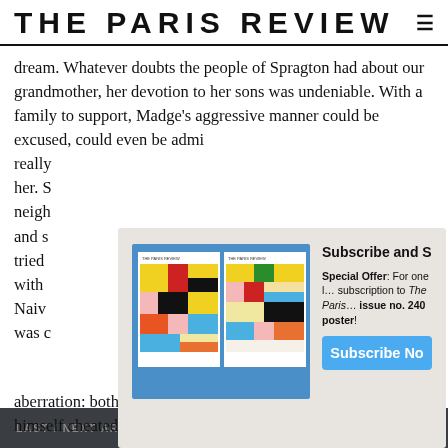THE PARIS REVIEW
dream. Whatever doubts the people of Spragton had about our grandmother, her devotion to her sons was undeniable. With a family to support, Madge’s aggressive manner could be excused, could even be admi… really… her. S… neigh… and s… tried… with… Naiv… was c…
[Figure (photo): Two copies of The Paris Review magazine displayed side by side on a blue background, showing colorful Mondrian-style grid covers.]
Subscribe and S…
Special Offer: For one l… subscription to The Paris… issue no. 240 poster!
Subscribe No…
aberration: both the cheat and the customer who believed himself cheated were unnatural, especially the
LAST / NEXT ARTICLE    SHARE